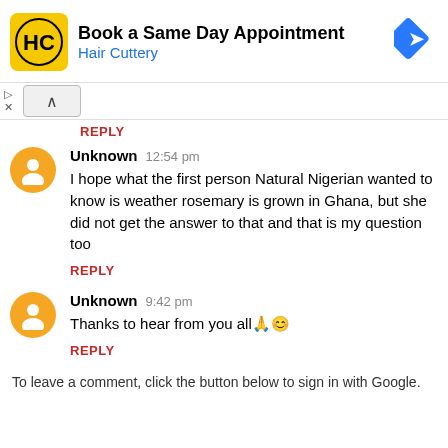[Figure (screenshot): Advertisement banner for Hair Cuttery - Book a Same Day Appointment]
REPLY
Unknown 12:54 pm
I hope what the first person Natural Nigerian wanted to know is weather rosemary is grown in Ghana, but she did not get the answer to that and that is my question too
REPLY
Unknown 9:42 pm
Thanks to hear from you all🙏😊
REPLY
To leave a comment, click the button below to sign in with Google.